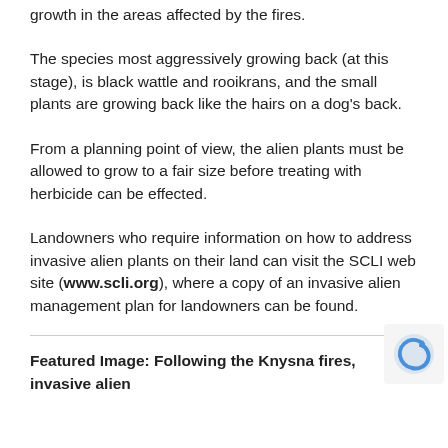growth in the areas affected by the fires.
The species most aggressively growing back (at this stage), is black wattle and rooikrans, and the small plants are growing back like the hairs on a dog's back.
From a planning point of view, the alien plants must be allowed to grow to a fair size before treating with herbicide can be effected.
Landowners who require information on how to address invasive alien plants on their land can visit the SCLI web site (www.scli.org), where a copy of an invasive alien management plan for landowners can be found.
Featured Image: Following the Knysna fires, invasive alien plants, such as Wattle and Rooikrans are already showing...